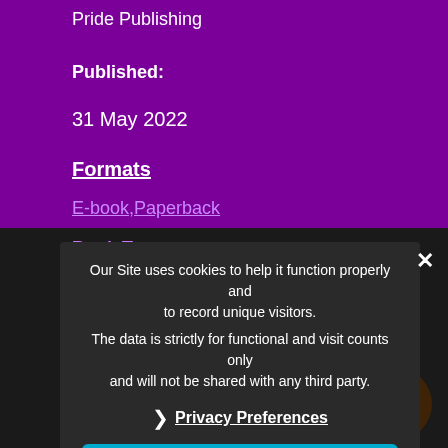Pride Publishing
Published:
31 May 2022
Formats
E-book,Paperback
Book Type
Novel
Words:
54,500
Pages:
218
Genre's
Our Site uses cookies to help it function properly and to record unique visitors.

The data is strictly for functional and visit counts only and will not be shared with any third party.

Privacy Preferences

I Agree